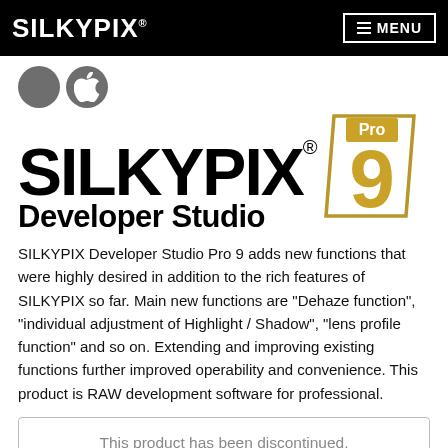SILKYPIX | MENU
[Figure (logo): SILKYPIX Developer Studio Pro 9 product logo with OS icons (macOS circle and Apple logo circle), large SILKYPIX text, and gold parallelogram badge with 'Pro 9' text and 'Developer Studio' subtitle]
SILKYPIX Developer Studio Pro 9 adds new functions that were highly desired in addition to the rich features of SILKYPIX so far. Main new functions are "Dehaze function", "individual adjustment of Highlight / Shadow", "lens profile function" and so on. Extending and improving existing functions further improved operability and convenience. This product is RAW development software for professional.
This product has been discontinued.